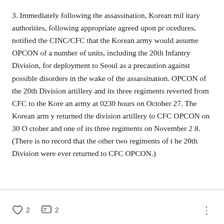3. Immediately following the assassination, Korean military authorities, following appropriate agreed upon procedures, notified the CINC/CFC that the Korean army would assume OPCON of a number of units, including the 20th Infantry Division, for deployment to Seoul as a precaution against possible disorders in the wake of the assassination. OPCON of the 20th Division artillery and its three regiments reverted from CFC to the Korean army at 0230 hours on October 27. The Korean army returned the division artillery to CFC OPCON on 30 October and one of its three regiments on November 28. (There is no record that the other two regiments of the 20th Division were ever returned to CFC OPCON.)
2 likes  2 comments